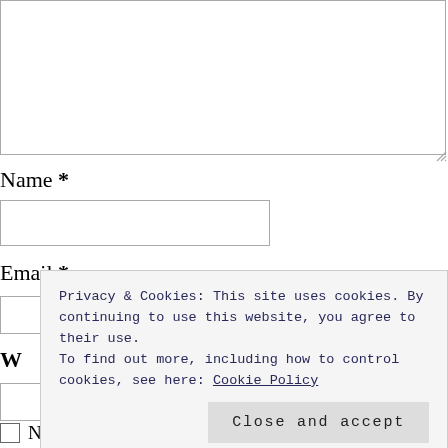[Figure (screenshot): Textarea input box (empty, resizable) at the top of a web comment form]
Name *
[Figure (screenshot): Name input field (empty text box)]
Email *
[Figure (screenshot): Email input field (empty text box)]
W
[Figure (screenshot): Website input field (empty text box)]
Privacy & Cookies: This site uses cookies. By continuing to use this website, you agree to their use.
To find out more, including how to control cookies, see here: Cookie Policy
Close and accept
Notify me of follow-up comments by email.